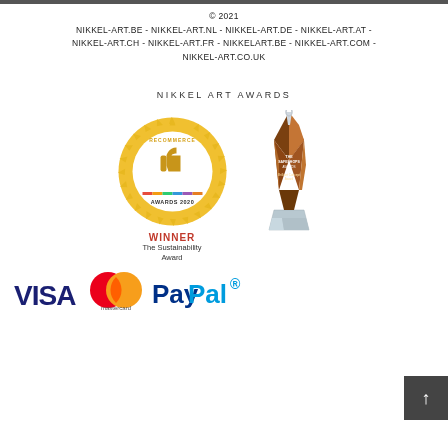© 2021
NIKKEL-ART.BE - NIKKEL-ART.NL - NIKKEL-ART.DE - NIKKEL-ART.AT - NIKKEL-ART.CH - NIKKEL-ART.FR - NIKKELART.BE - NIKKEL-ART.COM - NIKKEL-ART.CO.UK
NIKKEL ART AWARDS
[Figure (illustration): Recommerce Awards 2020 badge with thumbs up icon and text WINNER The Sustainability Award]
[Figure (photo): The SafeShops Awards trophy - Brilliant Concept Award, Winner Nikkel Art]
[Figure (logo): VISA, Mastercard, and PayPal payment logos]